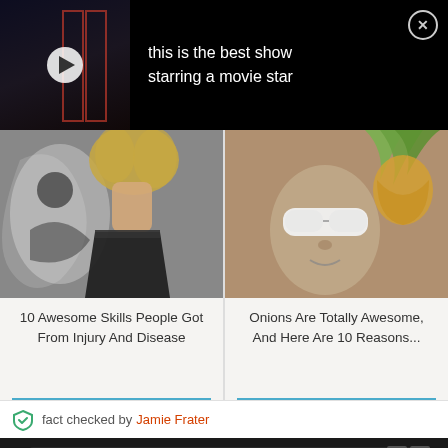[Figure (screenshot): Video thumbnail with play button showing dark scene, with overlay text 'this is the best show starring a movie star' and close button]
this is the best show starring a movie star
[Figure (photo): Person with curly blonde hair in dark jacket against black and white illustrated background]
10 Awesome Skills People Got From Injury And Disease
[Figure (photo): Older man wearing white wraparound sunglasses with pineapple plant behind him]
Onions Are Totally Awesome, And Here Are 10 Reasons...
fact checked by Jamie Frater
[Figure (screenshot): Advertisement banner: Download Helbiz and ride]